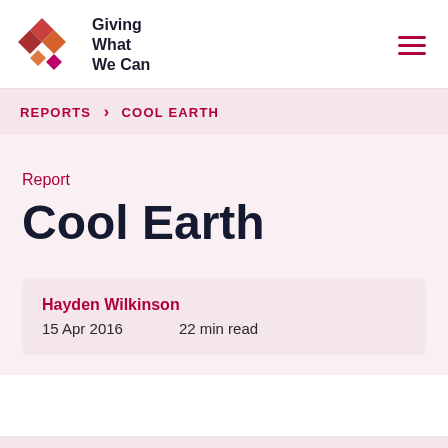Giving What We Can
REPORTS > COOL EARTH
Report
Cool Earth
Hayden Wilkinson
15 Apr 2016    22 min read